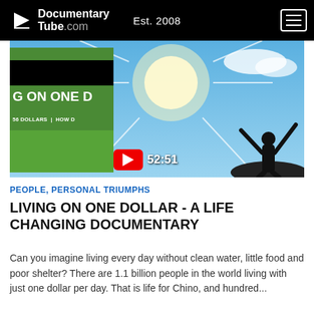DocumentaryTube.com  Est. 2008
[Figure (screenshot): Video thumbnail for 'Living On One Dollar' documentary showing a silhouette of a person with arms raised against a bright blue sky with sun rays, overlaid with a smaller documentary poster on the left side, and a YouTube play button badge showing duration 52:51]
PEOPLE, PERSONAL TRIUMPHS
LIVING ON ONE DOLLAR - A LIFE CHANGING DOCUMENTARY
Can you imagine living every day without clean water, little food and poor shelter? There are 1.1 billion people in the world living with just one dollar per day. That is life for Chino, and hundred...